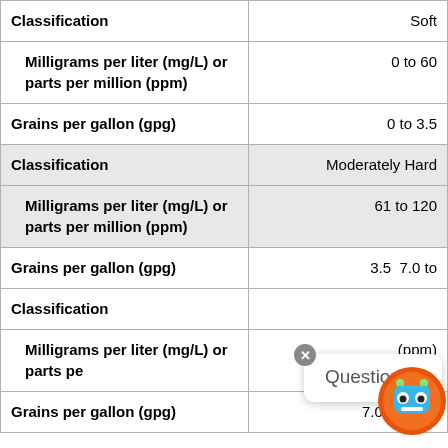| Field | Value |
| --- | --- |
| Classification | Soft |
| Milligrams per liter (mg/L) or parts per million (ppm) | 0 to 60 |
| Grains per gallon (gpg) | 0 to 3.5 |
| Classification | Moderately Hard |
| Milligrams per liter (mg/L) or parts per million (ppm) | 61 to 120 |
| Grains per gallon (gpg) | 3.5  7.0 to |
| Classification | Hard |
| Milligrams per liter (mg/L) or parts per million (ppm) | 121 to 1... |
| Grains per gallon (gpg) | 7.0  10.5 to |